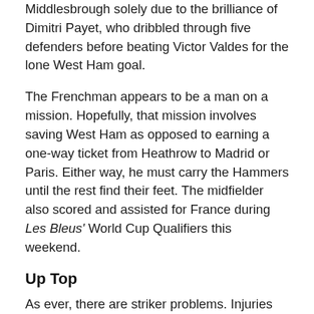Middlesbrough solely due to the brilliance of Dimitri Payet, who dribbled through five defenders before beating Victor Valdes for the lone West Ham goal.
The Frenchman appears to be a man on a mission. Hopefully, that mission involves saving West Ham as opposed to earning a one-way ticket from Heathrow to Madrid or Paris. Either way, he must carry the Hammers until the rest find their feet. The midfielder also scored and assisted for France during Les Bleus' World Cup Qualifiers this weekend.
Up Top
As ever, there are striker problems. Injuries appear to be the real West Ham Way, and Andy Carroll is fully immersed in the treatment facility, but could see a return in two weeks. West Ham's record signing André